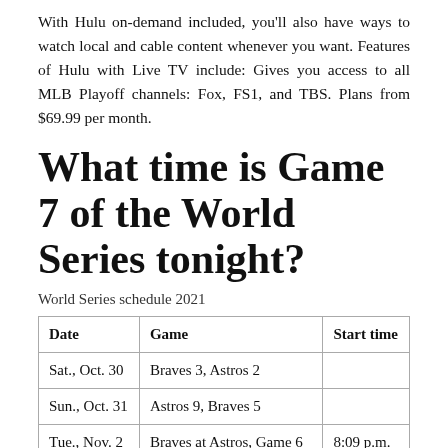With Hulu on-demand included, you'll also have ways to watch local and cable content whenever you want. Features of Hulu with Live TV include: Gives you access to all MLB Playoff channels: Fox, FS1, and TBS. Plans from $69.99 per month.
What time is Game 7 of the World Series tonight?
World Series schedule 2021
| Date | Game | Start time |
| --- | --- | --- |
| Sat., Oct. 30 | Braves 3, Astros 2 |  |
| Sun., Oct. 31 | Astros 9, Braves 5 |  |
| Tue., Nov. 2 | Braves at Astros, Game 6 | 8:09 p.m. |
| Wed., Nov. 3 | Braves at Astros, Game 7* | 8:09 p.m. |